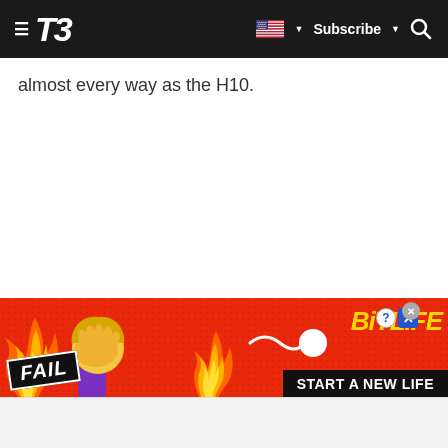T3 — Subscribe
almost every way as the H10.
[Figure (screenshot): BitLife mobile game advertisement banner with orange/red background, flame graphics, cartoon character facepalming, 'FAIL' text, sperm icon, BitLife logo in yellow, and 'START A NEW LIFE' tagline on black bar.]